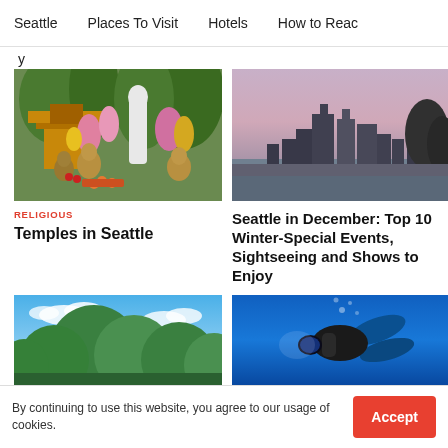Seattle  Places To Visit  Hotels  How to Reac
y
[Figure (photo): Buddhist temple garden with statues, flowers and offerings]
[Figure (photo): Seattle skyline at dusk/sunset]
RELIGIOUS
Temples in Seattle
Seattle in December: Top 10 Winter-Special Events, Sightseeing and Shows to Enjoy
[Figure (photo): Trees and blue sky with clouds]
[Figure (photo): Scuba diver underwater in blue water]
By continuing to use this website, you agree to our usage of cookies.